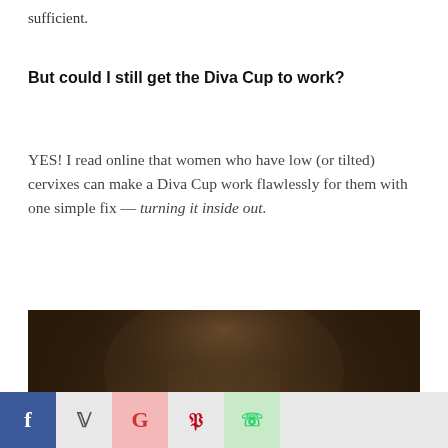sufficient.
But could I still get the Diva Cup to work?
YES! I read online that women who have low (or tilted) cervixes can make a Diva Cup work flawlessly for them with one simple fix — turning it inside out.
[Figure (photo): A group of nuns in black habits and white wimples laughing and singing together in what appears to be a church or chapel setting.]
f  Twitter  G  P  WhatsApp